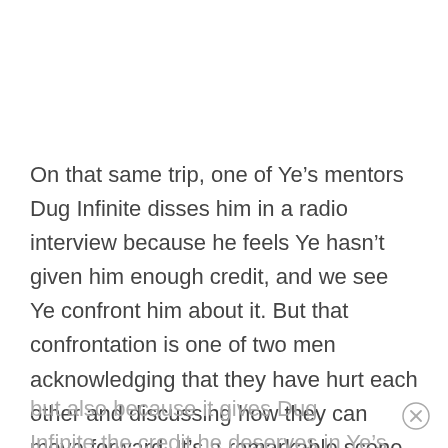On that same trip, one of Ye's mentors Dug Infinite disses him in a radio interview because he feels Ye hasn't given him enough credit, and we see Ye confront him about it. But that confrontation is one of two men acknowledging that they have hurt each other and discussing how they can move forward. It's a remarkable scene, not only in contrast to Ye's later bombastic persona,
but also because it gives Dug Infinite the credit he deserves in Ye's story.